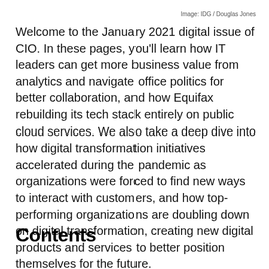Image: IDG / Douglas Jones
Welcome to the January 2021 digital issue of CIO. In these pages, you’ll learn how IT leaders can get more business value from analytics and navigate office politics for better collaboration, and how Equifax rebuilding its tech stack entirely on public cloud services. We also take a deep dive into how digital transformation initiatives accelerated during the pandemic as organizations were forced to find new ways to interact with customers, and how top-performing organizations are doubling down on digital transformation, creating new digital products and services to better position themselves for the future.
Contents